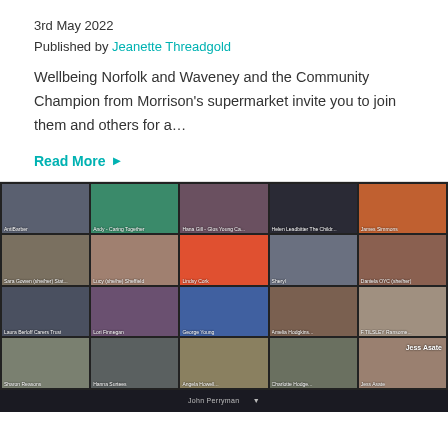3rd May 2022
Published by Jeanette Threadgold
Wellbeing Norfolk and Waveney and the Community Champion from Morrison's supermarket invite you to join them and others for a…
Read More ▶
[Figure (photo): Screenshot of a Zoom video call showing approximately 20 participants in a grid layout, with name labels visible at the bottom of each video tile.]